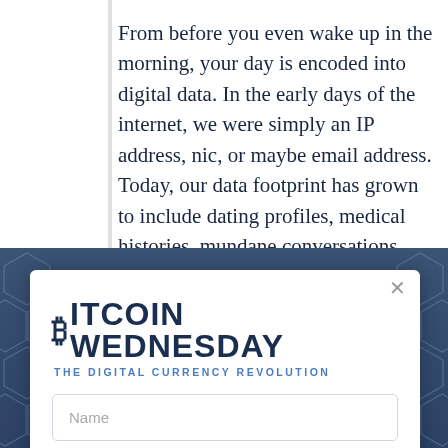From before you even wake up in the morning, your day is encoded into digital data. In the early days of the internet, we were simply an IP address, nic, or maybe email address. Today, our data footprint has grown to include dating profiles, medical histories, mundane conversations, personality traits, and much more. While the streams of our digital data
[Figure (screenshot): A modal popup overlay with dark blue geometric hexagon-patterned banner background. The modal contains the Bitcoin Wednesday logo (with Bitcoin symbol ₿ before ITCOIN WEDNESDAY) and subtitle 'THE DIGITAL CURRENCY REVOLUTION', followed by Name and Email input fields.]